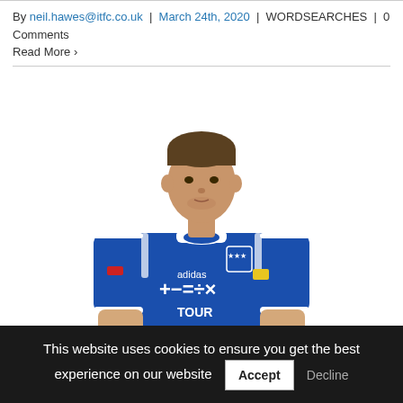By neil.hawes@itfc.co.uk | March 24th, 2020 | WORDSEARCHES | 0 Comments
Read More ›
[Figure (photo): Ipswich Town FC player in blue Adidas kit with sponsor logos, posing for an official club photo against a white background]
This website uses cookies to ensure you get the best experience on our website  Accept  Decline